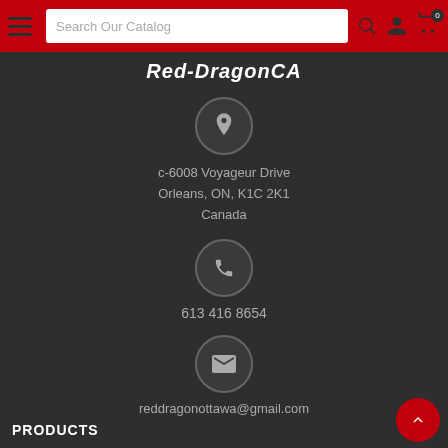Red-DragonCA — Search Our Catalog header navigation
Red-DragonCA
c-6008 Voyageur Drive
Orleans, ON, K1C 2K1
Canada
613 416 8654
reddragonottawa@gmail.com
PRODUCTS